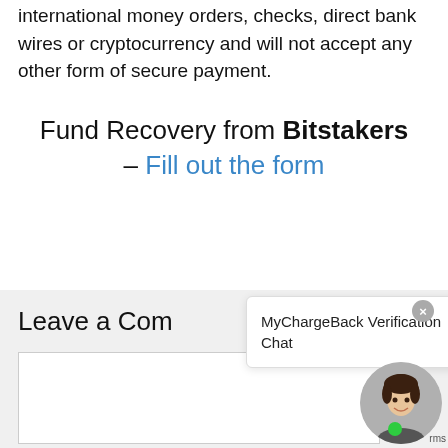The seller asks to be paid via international money orders, checks, direct bank wires or cryptocurrency and will not accept any other form of secure payment.
Fund Recovery from Bitstakers – Fill out the form
Leave a Comment
[Figure (screenshot): MyChargeBack Verification Chat popup overlay with close button (×) and a woman avatar with green online dot and reCAPTCHA logo visible.]